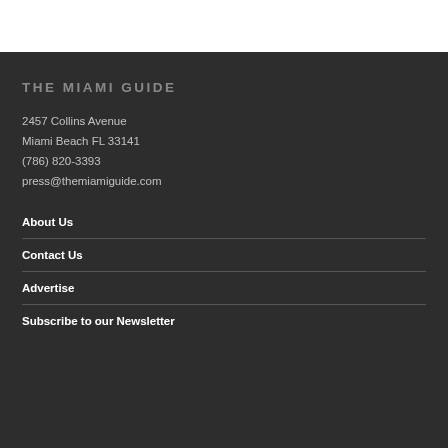THE MIAMI GUIDE
2457 Collins Avenue
Miami Beach FL 33141
(786) 820-3393
press@themiamiguide.com
About Us
Contact Us
Advertise
Subscribe to our Newsletter